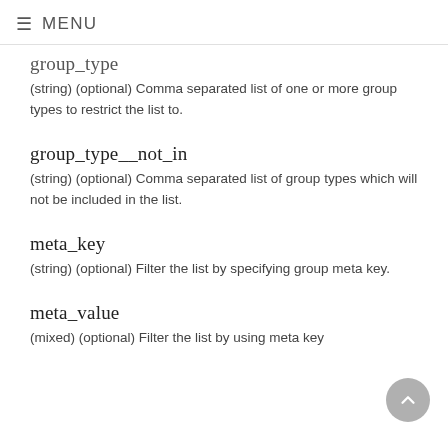≡ MENU
group_type
(string) (optional) Comma separated list of one or more group types to restrict the list to.
group_type__not_in
(string) (optional) Comma separated list of group types which will not be included in the list.
meta_key
(string) (optional) Filter the list by specifying group meta key.
meta_value
(mixed) (optional) Filter the list by using meta key